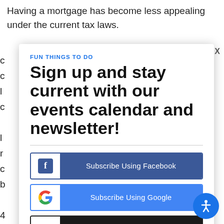Having a mortgage has become less appealing under the current tax laws.
FUN THINGS TO DO
Sign up and stay current with our events calendar and newsletter!
Subscribe Using Facebook
Subscribe Using Google
Continue with Email